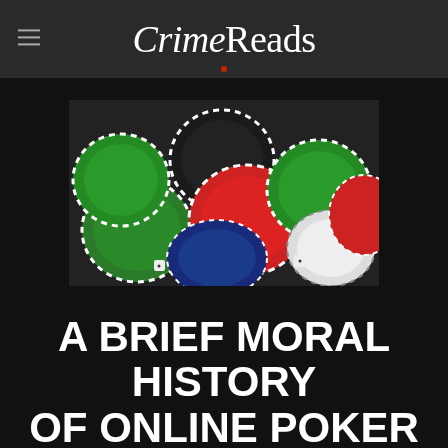CrimeReads
[Figure (photo): A pile of colorful casino poker chips in green, black, red, blue, and white arranged in a heap, photographed from above at an angle.]
A BRIEF MORAL HISTORY OF ONLINE POKER